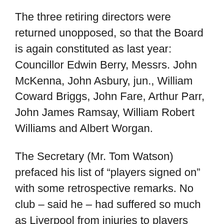The three retiring directors were returned unopposed, so that the Board is again constituted as last year: Councillor Edwin Berry, Messrs. John McKenna, John Asbury, jun., William Coward Briggs, John Fare, Arthur Parr, John James Ramsay, William Robert Williams and Albert Worgan.
The Secretary (Mr. Tom Watson) prefaced his list of “players signed on” with some retrospective remarks. No club – said he – had suffered so much as Liverpool from injuries to players during the past season. The mishap to Alf West in mid-September was a great loss. Then Maurice Parry was hurt in November, and their captain Alex Raisbeck, broke down just in the thick of the Cup-